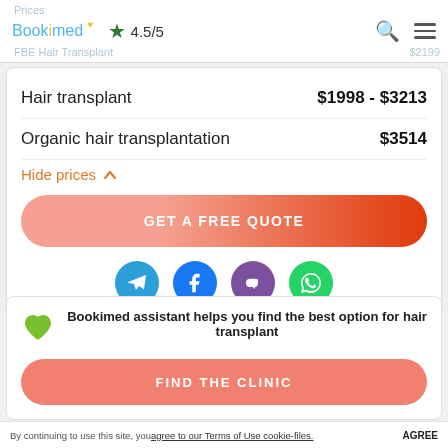Prices | Bookimed ★ 4.5/5 | FBE Hair Transplant $2199
| Service | Price |
| --- | --- |
| Hair transplant | $1998 - $3213 |
| Organic hair transplantation | $3514 |
Hide prices ∧
[Figure (infographic): GET A FREE QUOTE button with gradient from light salmon to dark orange-red, rounded pill shape]
[Figure (infographic): Four social media icons in circles: Telegram (blue), Facebook (blue), Viber (purple), WhatsApp (green)]
Bookimed assistant helps you find the best option for hair transplant
[Figure (infographic): FIND THE CLINIC button in salmon/coral color, rounded pill shape, with green heart icon to the left]
By continuing to use this site, you agree to our Terms of Use cookie-files. AGREE